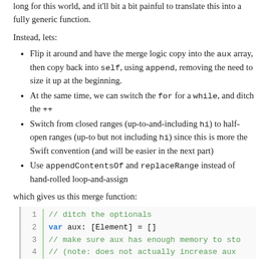long for this world, and it'll bit a bit painful to translate this into a fully generic function.
Instead, lets:
Flip it around and have the merge logic copy into the aux array, then copy back into self, using append, removing the need to size it up at the beginning.
At the same time, we can switch the for for a while, and ditch the ++
Switch from closed ranges (up-to-and-including hi) to half-open ranges (up-to but not including hi) since this is more the Swift convention (and will be easier in the next part)
Use appendContentsOf and replaceRange instead of hand-rolled loop-and-assign
which gives us this merge function:
[Figure (screenshot): Code block showing Swift merge function with line numbers 1-4. Line 1: // ditch the optionals (green comment). Line 2: var aux: [Element] = [] (blue keyword 'var'). Line 3: // make sure aux has enough memory to sto... (green comment). Line 4: // (note: does not actually increase aux... (green comment, cut off).]